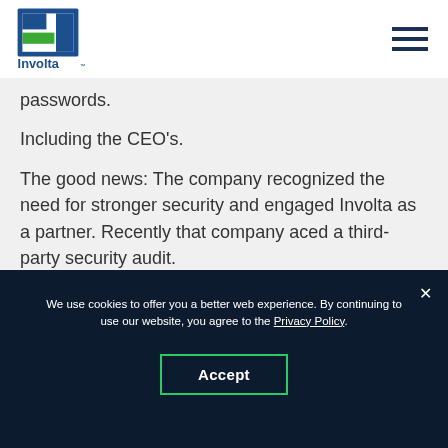[Figure (logo): Involta company logo with blue and green geometric shapes and text 'Involta']
passwords.
Including the CEO's.
The good news: The company recognized the need for stronger security and engaged Involta as a partner. Recently that company aced a third-party security audit.
We use cookies to offer you a better web experience. By continuing to use our website, you agree to the Privacy Policy.